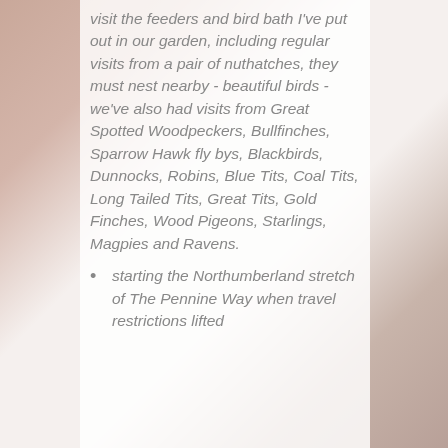visit the feeders and bird bath I've put out in our garden, including regular visits from a pair of nuthatches, they must nest nearby - beautiful birds - we've also had visits from Great Spotted Woodpeckers, Bullfinches, Sparrow Hawk fly bys, Blackbirds, Dunnocks, Robins, Blue Tits, Coal Tits, Long Tailed Tits, Great Tits, Gold Finches, Wood Pigeons, Starlings, Magpies and Ravens.
starting the Northumberland stretch of The Pennine Way when travel restrictions lifted